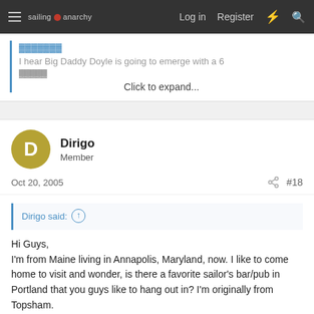sailing anarchy  Log in  Register
I hear Big Daddy Doyle is going to emerge with a 6
Click to expand...
Dirigo
Member
Oct 20, 2005  #18
Dirigo said:
Hi Guys,
I'm from Maine living in Annapolis, Maryland, now. I like to come home to visit and wonder, is there a favorite sailor's bar/pub in Portland that you guys like to hang out in? I'm originally from Topsham.